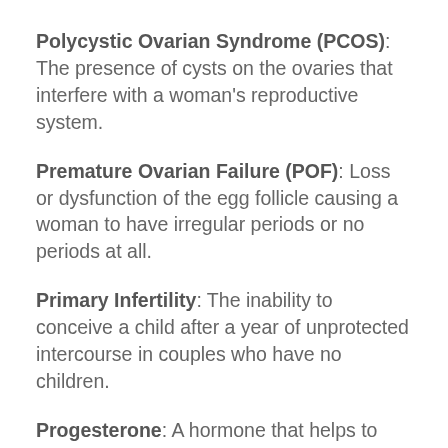Polycystic Ovarian Syndrome (PCOS): The presence of cysts on the ovaries that interfere with a woman's reproductive system.
Premature Ovarian Failure (POF): Loss or dysfunction of the egg follicle causing a woman to have irregular periods or no periods at all.
Primary Infertility: The inability to conceive a child after a year of unprotected intercourse in couples who have no children.
Progesterone: A hormone that helps to improve the condition of the